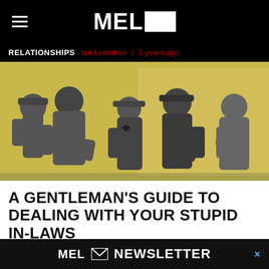MEL [logo]
RELATIONSHIPS   Ian Lecklitner  /  2 years ago
[Figure (photo): Black and white vintage photo of men in hats squaring up for a fight, with a woman watching, on a yellow-tinted background]
A GENTLEMAN'S GUIDE TO DEALING WITH YOUR STUPID IN-LAWS
Holiday ... ans it's ti... this
MEL NEWSLETTER